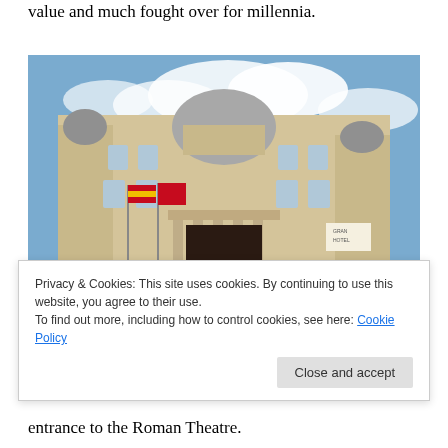value and much fought over for millennia.
[Figure (photo): Photograph of a grand classical European building facade with a large dome, ornate stonework, columns, multiple flags flying in front (including Spanish flag), and a blue cloudy sky. A sign for Gran Hotel is visible on the right side.]
Privacy & Cookies: This site uses cookies. By continuing to use this website, you agree to their use.
To find out more, including how to control cookies, see here: Cookie Policy
entrance to the Roman Theatre.